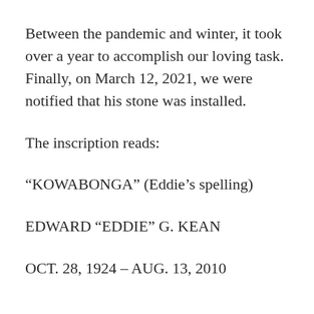Between the pandemic and winter, it took over a year to accomplish our loving task. Finally, on March 12, 2021, we were notified that his stone was installed.
The inscription reads:
“KOWABONGA” (Eddie’s spelling)
EDWARD “EDDIE” G. KEAN
OCT. 28, 1924 – AUG. 13, 2010